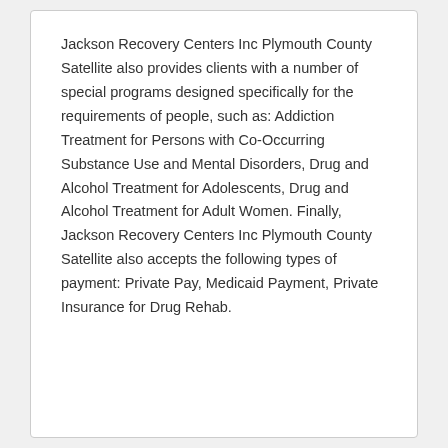Jackson Recovery Centers Inc Plymouth County Satellite also provides clients with a number of special programs designed specifically for the requirements of people, such as: Addiction Treatment for Persons with Co-Occurring Substance Use and Mental Disorders, Drug and Alcohol Treatment for Adolescents, Drug and Alcohol Treatment for Adult Women. Finally, Jackson Recovery Centers Inc Plymouth County Satellite also accepts the following types of payment: Private Pay, Medicaid Payment, Private Insurance for Drug Rehab.